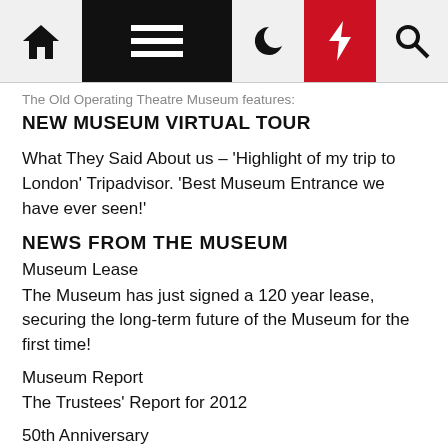Navigation bar with home, menu, moon, bolt, and search icons
The Old Operating Theatre Museum features: NEW MUSEUM VIRTUAL TOUR
What They Said About us – 'Highlight of my trip to London' Tripadvisor. 'Best Museum Entrance we have ever seen!'
NEWS FROM THE MUSEUM
Museum Lease
The Museum has just signed a 120 year lease, securing the long-term future of the Museum for the first time!
Museum Report
The Trustees' Report for 2012
50th Anniversary
This year is the 50th Anniversary of the foundation of the Museum on 27th October 1962. Click here for